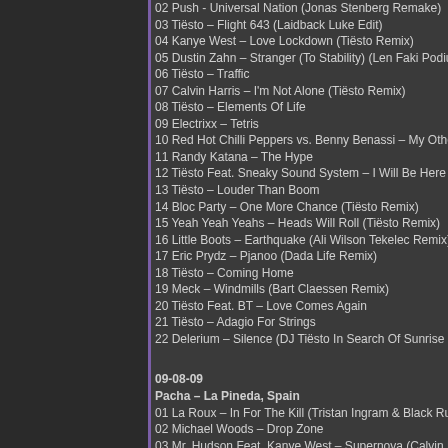02 Push - Universal Nation (Jonas Stenberg Remake)
03 Tiësto – Flight 643 (Laidback Luke Edit)
04 Kanye West – Love Lockdown (Tiësto Remix)
05 Dustin Zahn – Stranger (To Stability) (Len Faki Podium...
06 Tiësto – Traffic
07 Calvin Harris – I'm Not Alone (Tiësto Remix)
08 Tiësto – Elements Of Life
09 Electrixx – Tetris
10 Red Hot Chilli Peppers vs. Benny Benassi – My Othe...
11 Randy Katana – The Hype
12 Tiësto Feat. Sneaky Sound System – I Will Be Here
13 Tiësto – Louder Than Boom
14 Bloc Party – One More Chance (Tiësto Remix)
15 Yeah Yeah Yeahs – Heads Will Roll (Tiësto Remix)
16 Little Boots – Earthquake (Ali Wilson Tekelec Remix)
17 Eric Prydz – Pjanoo (Dada Life Remix)
18 Tiësto – Coming Home
19 Meck – Windmills (Bart Claessen Remix)
20 Tiësto Feat. BT – Love Comes Again
21 Tiësto – Adagio For Strings
22 Delerium – Silence (DJ Tiësto In Search Of Sunrise R...
09-08-09
Pacha – La Pineda, Spain
01 La Roux – In For The Kill (Tristan Ingram & Black Rus...
02 Michael Woods – Drop Zone
03 Mr. Hudson Feat. Kanye West – Supernova (Calvin H...
04 Jean Claude Ades – Spanish Harlem (Hard Rock Sof...
05 Empire Of The Sun – We Are The People (Wawa Rem...
06 Sebastian Ingrosso – Kidsos
07 The Tampee Trap – Eurythmic Disposition (Edit...